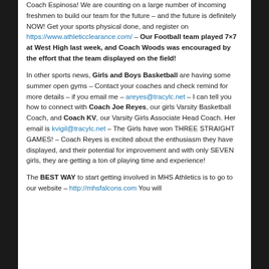Coach Espinosa! We are counting on a large number of incoming freshmen to build our team for the future – and the future is definitely NOW! Get your sports physical done, and register on https://www.athleticclearance.com/ – Our Football team played 7×7 at West High last week, and Coach Woods was encouraged by the effort that the team displayed on the field!

In other sports news, Girls and Boys Basketball are having some summer open gyms – Contact your coaches and check remind for more details – if you email me – areyes@tracylc.net – I can tell you how to connect with Coach Joe Reyes, our girls Varsity Basketball Coach, and Coach KV, our Varsity Girls Associate Head Coach. Her email is kvigil@tracylc.net – The Girls have won THREE STRAIGHT GAMES! – Coach Reyes is excited about the enthusiasm they have displayed, and their potential for improvement and with only SEVEN girls, they are getting a ton of playing time and experience!

The BEST WAY to start getting involved in MHS Athletics is to go to our website – http://mhsfalcons.com You will